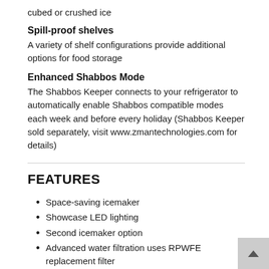cubed or crushed ice
Spill-proof shelves
A variety of shelf configurations provide additional options for food storage
Enhanced Shabbos Mode
The Shabbos Keeper connects to your refrigerator to automatically enable Shabbos compatible modes each week and before every holiday (Shabbos Keeper sold separately, visit www.zmantechnologies.com for details)
FEATURES
Space-saving icemaker
Showcase LED lighting
Second icemaker option
Advanced water filtration uses RPWFE replacement filter
TwinChill™ evaporators